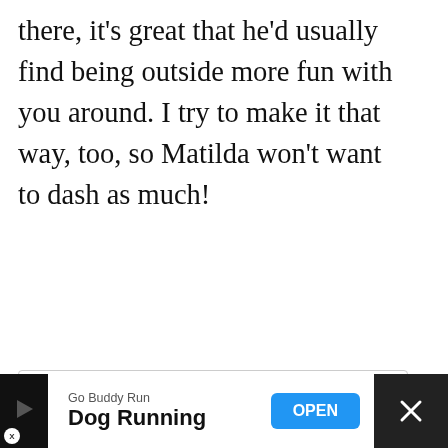there, it's great that he'd usually find being outside more fun with you around. I try to make it that way, too, so Matilda won't want to dash as much!
Lindsay Pevny recently posted... How I Got My Pet Blog Post To Rank #1 In Google Search Results
[Figure (logo): Red winged logo icon]
[Figure (infographic): Orange heart favorite button with count 73, reply button, and share button overlay]
Go Buddy Run
Dog Running
[Figure (screenshot): OPEN button (blue) and X close button on ad bar]